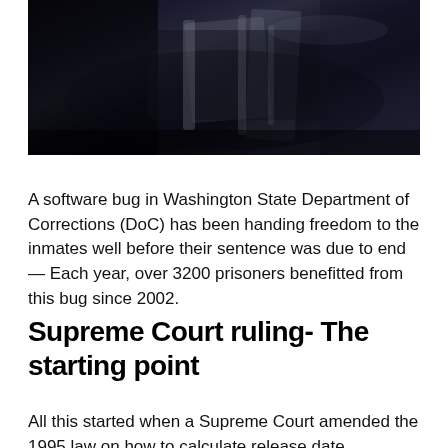[Figure (photo): Dark photograph showing what appears to be a person near a vehicle, dimly lit scene with dark blues and blacks]
A software bug in Washington State Department of Corrections (DoC) has been handing freedom to the inmates well before their sentence was due to end — Each year, over 3200 prisoners benefitted from this bug since 2002.
Supreme Court ruling- The starting point
All this started when a Supreme Court amended the 1995 law on how to calculate release date mitigating